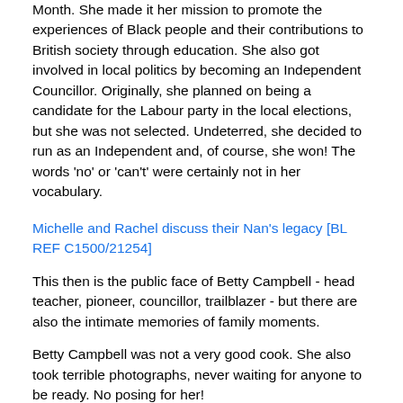Month. She made it her mission to promote the experiences of Black people and their contributions to British society through education. She also got involved in local politics by becoming an Independent Councillor. Originally, she planned on being a candidate for the Labour party in the local elections, but she was not selected. Undeterred, she decided to run as an Independent and, of course, she won! The words 'no' or 'can't' were certainly not in her vocabulary.
Michelle and Rachel discuss their Nan's legacy [BL REF C1500/21254]
This then is the public face of Betty Campbell - head teacher, pioneer, councillor, trailblazer - but there are also the intimate memories of family moments.
Betty Campbell was not a very good cook. She also took terrible photographs, never waiting for anyone to be ready. No posing for her!
She loved singing in the choir.
She loved to travel and she made friends everywhere. Her granddaughter Michelle laughs at the memory of them all going to Canada to stay with people her grandmother had recently met in Butetown. For the cousins she was 'young at heart,' despite her